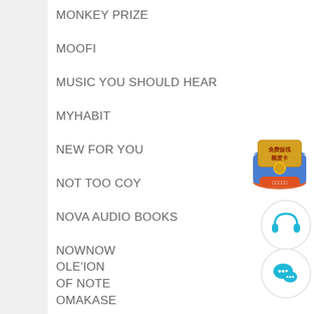MONKEY PRIZE
MOOFI
MUSIC YOU SHOULD HEAR
MYHABIT
NEW FOR YOU
NOT TOO COY
NOVA AUDIO BOOKS
NOWNOW
OF NOTE
OLE'ION
OMAKASE
[Figure (illustration): Promotional widget showing a card with Chinese text '免费提现额度卡' and an orange button with Chinese characters, on a blue background with a coin graphic]
[Figure (illustration): Circular icon with cyan headphone symbol on white background with light grey border]
[Figure (illustration): Circular icon with cyan WeChat-style chat bubble icon on white background with light grey border]
[Figure (illustration): Dark square back-to-top button with white upward chevron arrow]